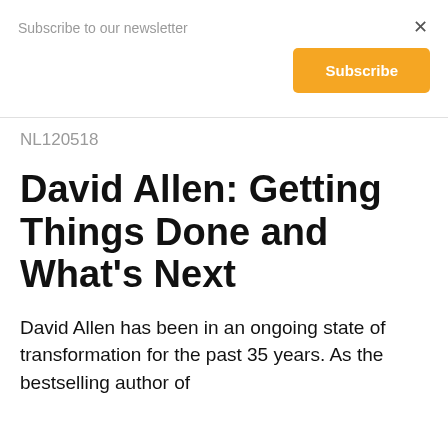Subscribe to our newsletter
Subscribe
NL120518
David Allen: Getting Things Done and What's Next
David Allen has been in an ongoing state of transformation for the past 35 years. As the bestselling author of